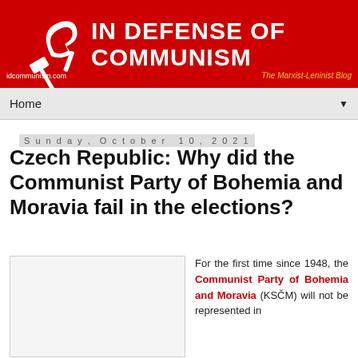[Figure (logo): In Defense of Communism blog banner with hammer and sickle logo on red background, white bold text reading IN DEFENSE OF COMMUNISM, url idcommunism.com, tagline The Marxist-Leninist Blog]
Home ▼
Sunday, October 10, 2021
Czech Republic: Why did the Communist Party of Bohemia and Moravia fail in the elections?
[Figure (photo): Blank/placeholder image area]
For the first time since 1948, the Communist Party of Bohemia and Moravia (KSČM) will not be represented in